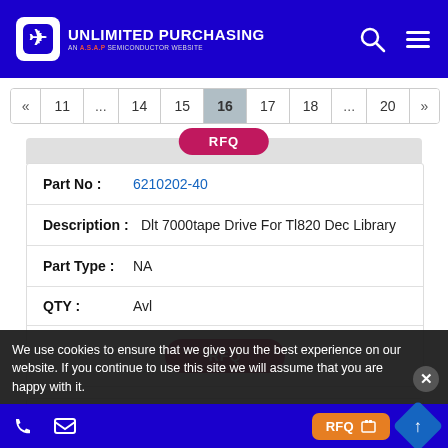UNLIMITED PURCHASING — AN A.S.A.P SEMICONDUCTOR WEBSITE
Pagination: « 11 ... 14 15 16 17 18 ... 20 »
| Part No | Description | Part Type | QTY |
| --- | --- | --- | --- |
| 6210202-40 | Dlt 7000tape Drive For Tl820 Dec Library | NA | Avl |
RFQ
Part No : 6210202-29
Description : NA
We use cookies to ensure that we give you the best experience on our website. If you continue to use this site we will assume that you are happy with it.